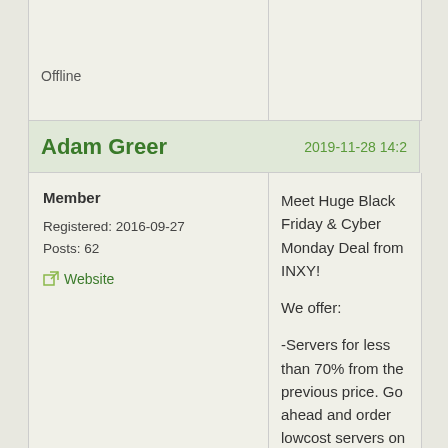Offline
Adam Greer
2019-11-28 14:2
Member
Registered: 2016-09-27
Posts: 62
Website
Meet Huge Black Friday & Cyber Monday Deal from INXY!

We offer:

-Servers for less than 70% from the previous price. Go ahead and order lowcost servers on our website. Select a suitable